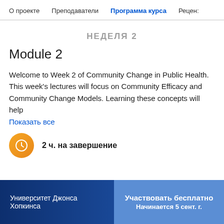О проекте  Преподаватели  Программа курса  Рецен:
НЕДЕЛЯ 2
Module 2
Welcome to Week 2 of Community Change in Public Health. This week's lectures will focus on Community Efficacy and Community Change Models. Learning these concepts will help
Показать все
2 ч. на завершение
Университет Джонса Хопкинса   Участвовать бесплатно  Начинается 5 сент. г.